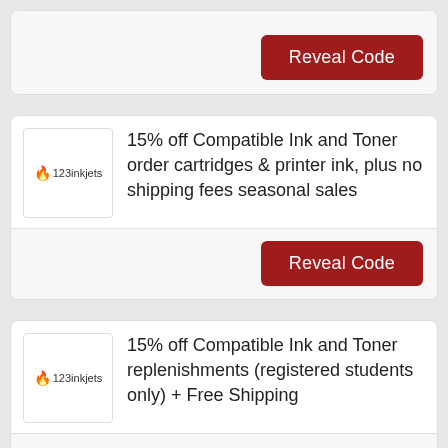[Figure (screenshot): Partial coupon card showing Reveal Code button at top]
15% off Compatible Ink and Toner order cartridges & printer ink, plus no shipping fees seasonal sales
[Figure (screenshot): Reveal Code button for second coupon card]
15% off Compatible Ink and Toner replenishments (registered students only) + Free Shipping
[Figure (screenshot): Partial Reveal Code button for third coupon card at bottom]